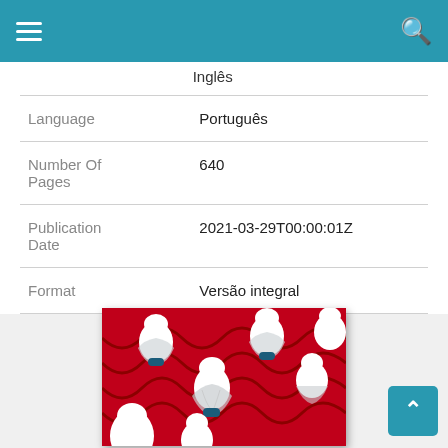Navigation bar with menu and search icons
| Field | Value |
| --- | --- |
| Inglês |  |
| Language | Português |
| Number Of Pages | 640 |
| Publication Date | 2021-03-29T00:00:01Z |
| Format | Versão integral |
[Figure (illustration): Book cover showing multiple figures in white robes and head coverings against a red background, arranged in a repeating pattern — appears to be The Handmaid's Tale cover art.]